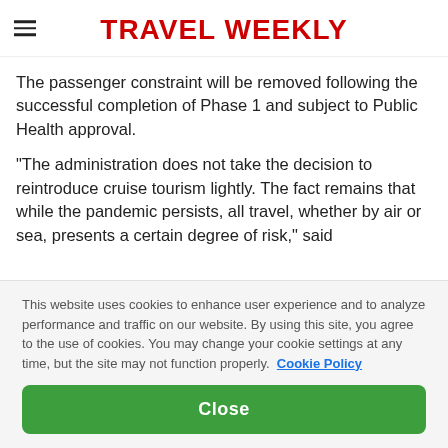TRAVEL WEEKLY
The passenger constraint will be removed following the successful completion of Phase 1 and subject to Public Health approval.
"The administration does not take the decision to reintroduce cruise tourism lightly. The fact remains that while the pandemic persists, all travel, whether by air or sea, presents a certain degree of risk," said
This website uses cookies to enhance user experience and to analyze performance and traffic on our website. By using this site, you agree to the use of cookies. You may change your cookie settings at any time, but the site may not function properly.  Cookie Policy
Close